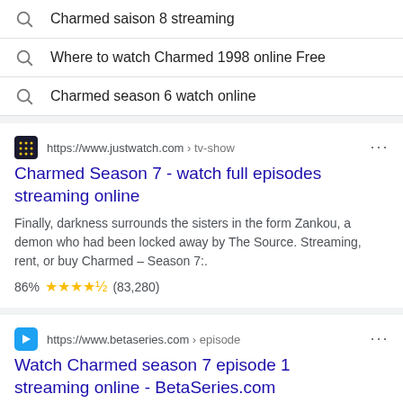Charmed saison 8 streaming
Where to watch Charmed 1998 online Free
Charmed season 6 watch online
https://www.justwatch.com › tv-show
Charmed Season 7 - watch full episodes streaming online
Finally, darkness surrounds the sisters in the form Zankou, a demon who had been locked away by The Source. Streaming, rent, or buy Charmed – Season 7:.
86% ★★★★½ (83,280)
https://www.betaseries.com › episode
Watch Charmed season 7 episode 1 streaming online - BetaSeries.com